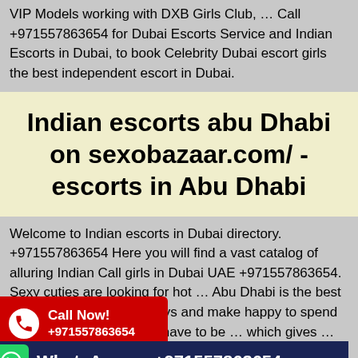VIP Models working with DXB Girls Club, … Call +971557863654 for Dubai Escorts Service and Indian Escorts in Dubai, to book Celebrity Dubai escort girls the best independent escort in Dubai.
Indian escorts abu Dhabi on sexobazaar.com/ - escorts in Abu Dhabi
Welcome to Indian escorts in Dubai directory. +971557863654 Here you will find a vast catalog of alluring Indian Call girls in Dubai UAE +971557863654. Sexy cuties are looking for hot … Abu Dhabi is the best place to enjoy your holidays and make happy to spend … there are many things have to be … which gives … +971557863654 Sexy selection of Indian and Desi escorts Abu-Dhabi. Find the hottest and the best Indian escort girls in your area. hardcore … an Escorts in Abu
Call Now! +971557863654
WhatsApp us +971557863654